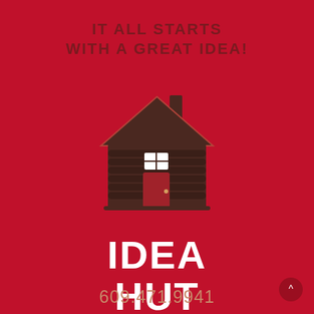IT ALL STARTS WITH A GREAT IDEA!
[Figure (logo): Log cabin / hut icon illustration in dark brown on red background, representing the Idea Hut brand logo]
IDEA HUT
Contact Us
609.471.9941